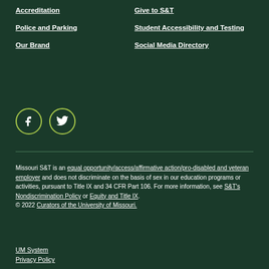Accreditation
Police and Parking
Our Brand
Give to S&T
Student Accessibility and Testing
Social Media Directory
[Figure (illustration): Facebook and Twitter social media icons in circular outlines]
Missouri S&T is an equal opportunity/access/affirmative action/pro-disabled and veteran employer and does not discriminate on the basis of sex in our education programs or activities, pursuant to Title IX and 34 CFR Part 106. For more information, see S&T's Nondiscrimination Policy or Equity and Title IX.
© 2022 Curators of the University of Missouri.
UM System
Privacy Policy